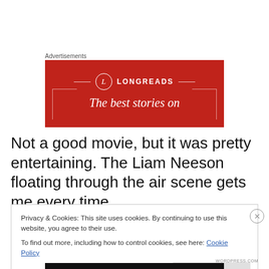Advertisements
[Figure (illustration): Longreads advertisement banner with red background, circular L logo, horizontal decorative lines, and text 'The best stories on']
Not a good movie, but it was pretty entertaining. The Liam Neeson floating through the air scene gets me every time.
Privacy & Cookies: This site uses cookies. By continuing to use this website, you agree to their use.
To find out more, including how to control cookies, see here: Cookie Policy
[Close and accept]